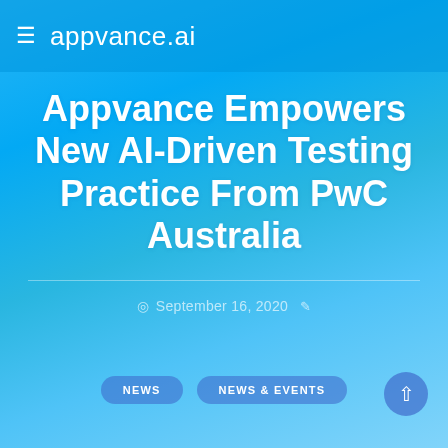≡ appvance.ai
Appvance Empowers New AI-Driven Testing Practice From PwC Australia
September 16, 2020
NEWS
NEWS & EVENTS